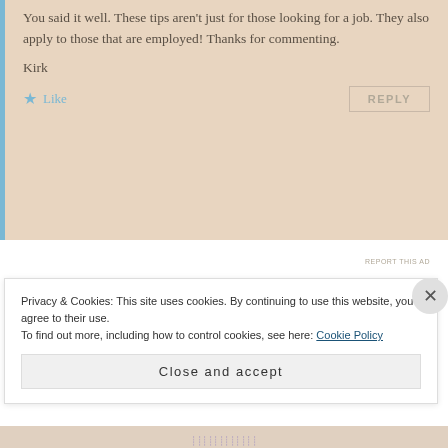You said it well. These tips aren't just for those looking for a job. They also apply to those that are employed! Thanks for commenting.
Kirk
Like
REPLY
[Figure (other): Blue advertisement banner strip]
REPORT THIS AD
Privacy & Cookies: This site uses cookies. By continuing to use this website, you agree to their use.
To find out more, including how to control cookies, see here: Cookie Policy
Close and accept